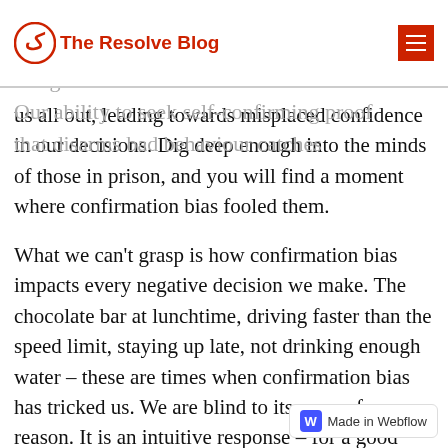The Resolve Blog
I have seen confirmation bias destroy careers. No other mindset breeds arrogance better than confirmation bias. Our ability to seek self-confirming proof that disarms bad behaviour catches us all out, leading towards misplaced confidence in our decisions. Dig deep enough into the minds of those in prison, and you will find a moment where confirmation bias fooled them.
What we can't grasp is how confirmation bias impacts every negative decision we make. The chocolate bar at lunchtime, driving faster than the speed limit, staying up late, not drinking enough water – these are times when confirmation bias has tricked us. We are blind to its power for one reason. It is an intuitive response – for a good reason.
The positive part of acc confirmation bias